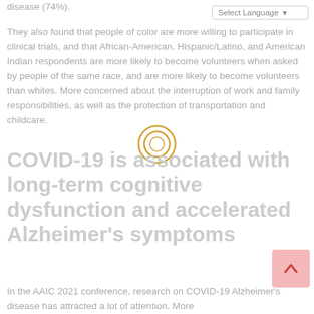disease (74%).
They also found that people of color are more willing to participate in clinical trials, and that African-American, Hispanic/Latino, and American Indian respondents are more likely to become volunteers when asked by people of the same race, and are more likely to become volunteers than whites. More concerned about the interruption of work and family responsibilities, as well as the protection of transportation and childcare.
[Figure (illustration): A circular icon resembling a camera lens or target ring, gold/yellow colored outline with concentric circles]
COVID-19 is associated with long-term cognitive dysfunction and accelerated Alzheimer's symptoms
In the AAIC 2021 conference, research on COVID-19 Alzheimer's disease has attracted a lot of attention. More